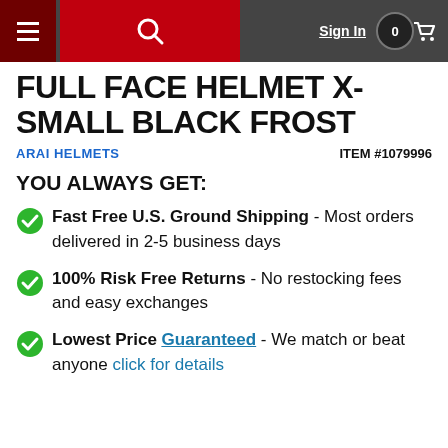Sign In | 0 (cart)
FULL FACE HELMET X-SMALL BLACK FROST
ARAI HELMETS | ITEM #1079996
YOU ALWAYS GET:
Fast Free U.S. Ground Shipping - Most orders delivered in 2-5 business days
100% Risk Free Returns - No restocking fees and easy exchanges
Lowest Price Guaranteed - We match or beat anyone click for details